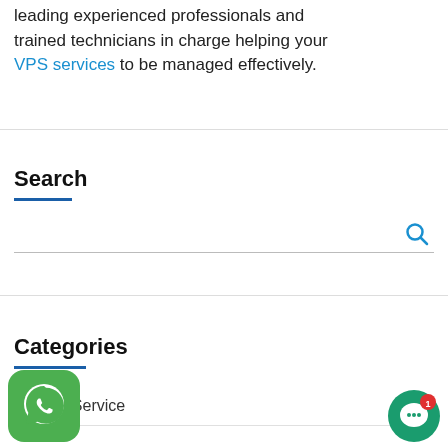leading experienced professionals and trained technicians in charge helping your VPS services to be managed effectively.
Search
[Figure (other): Search input bar with a blue magnifying glass icon on the right]
Categories
Backup Service
[Figure (other): WhatsApp app icon button in bottom-left corner]
[Figure (other): Chat support button with notification badge showing 1, bottom-right corner]